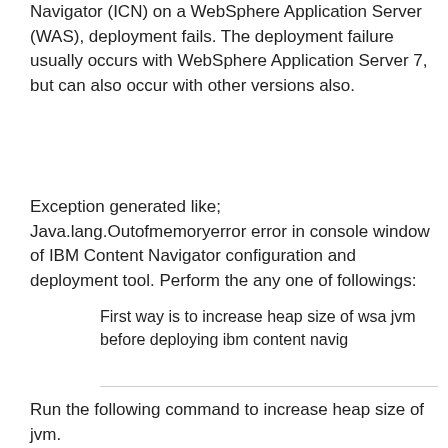Navigator (ICN) on a WebSphere Application Server (WAS), deployment fails. The deployment failure usually occurs with WebSphere Application Server 7, but can also occur with other versions also.
Exception generated like; Java.lang.Outofmemoryerror error in console window of IBM Content Navigator configuration and deployment tool. Perform the any one of followings:
First way is to increase heap size of wsa jvm before deploying ibm content navig
Run the following command to increase heap size of jvm.